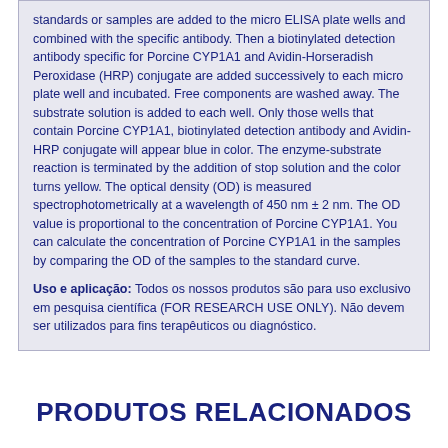standards or samples are added to the micro ELISA plate wells and combined with the specific antibody. Then a biotinylated detection antibody specific for Porcine CYP1A1 and Avidin-Horseradish Peroxidase (HRP) conjugate are added successively to each micro plate well and incubated. Free components are washed away. The substrate solution is added to each well. Only those wells that contain Porcine CYP1A1, biotinylated detection antibody and Avidin-HRP conjugate will appear blue in color. The enzyme-substrate reaction is terminated by the addition of stop solution and the color turns yellow. The optical density (OD) is measured spectrophotometrically at a wavelength of 450 nm ± 2 nm. The OD value is proportional to the concentration of Porcine CYP1A1. You can calculate the concentration of Porcine CYP1A1 in the samples by comparing the OD of the samples to the standard curve.
Uso e aplicação: Todos os nossos produtos são para uso exclusivo em pesquisa científica (FOR RESEARCH USE ONLY). Não devem ser utilizados para fins terapêuticos ou diagnóstico.
PRODUTOS RELACIONADOS